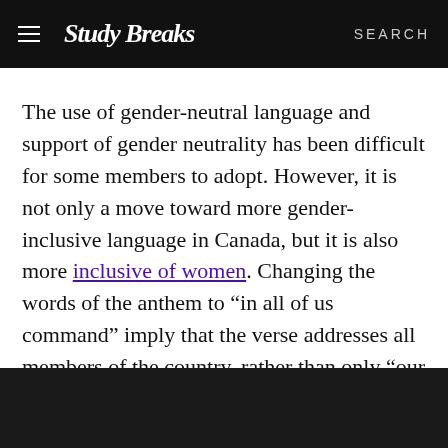Study Breaks — SEARCH
The use of gender-neutral language and support of gender neutrality has been difficult for some members to adopt. However, it is not only a move toward more gender-inclusive language in Canada, but it is also more inclusive of women. Changing the words of the anthem to “in all of us command” imply that the verse addresses all members of the country, rather than only “our sons.”